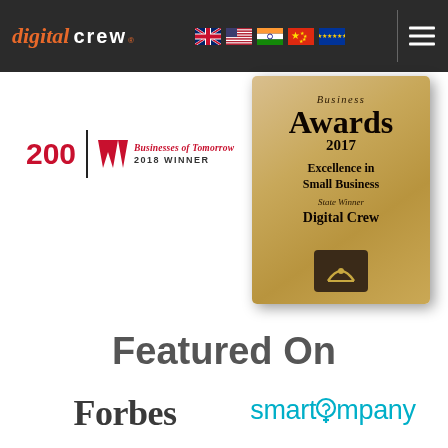digital crew — navigation bar with flags (AU, US, IN, CN, EU) and hamburger menu
[Figure (logo): Westpac Businesses of Tomorrow 200 — 2018 Winner badge with red W logo]
[Figure (photo): Business Awards 2017 Excellence in Small Business State Winner Digital Crew — gold plaque trophy]
Featured On
[Figure (logo): Forbes logo in dark gray serif font]
[Figure (logo): smartcompany logo in teal/cyan with lightbulb icon replacing the 'o']